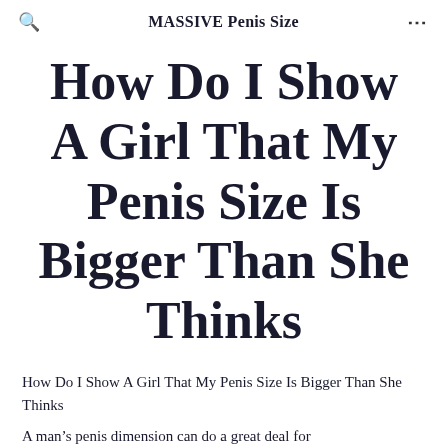MASSIVE Penis Size
How Do I Show A Girl That My Penis Size Is Bigger Than She Thinks
How Do I Show A Girl That My Penis Size Is Bigger Than She Thinks
A man's penis dimension can do a great deal for